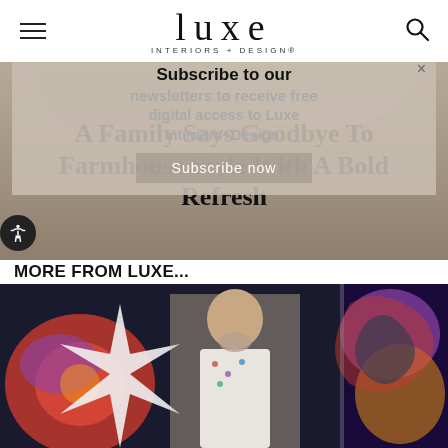luxe INTERIORS+DESIGN
[Figure (screenshot): Newsletter subscription overlay with text 'Subscribe to our newsletters to receive free digital access to Luxe Interiors+Design.' and 'Subscribe now' button, overlaid on a background image]
A Family Says Goodbye To Farmhouse Style With A Bold Refresh
MORE FROM LUXE...
[Figure (photo): A man with a beard standing in front of large colorful artwork featuring star and mandala patterns in red, blue, gold, and purple on dark background]